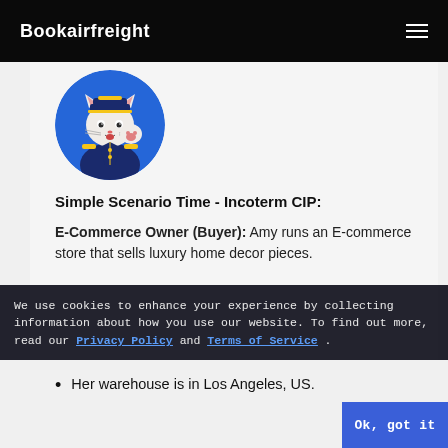Bookairfreight
[Figure (illustration): Circular avatar illustration of a cartoon white cat wearing a navy blue pilot/captain uniform with gold epaulettes and a captain's hat, raising a paw, on a blue background circle]
Simple Scenario Time - Incoterm CIP:
E-Commerce Owner (Buyer): Amy runs an E-commerce store that sells luxury home decor pieces.
We use cookies to enhance your experience by collecting information about how you use our website. To find out more, read our Privacy Policy and Terms of Service .
Her warehouse is in Los Angeles, US.